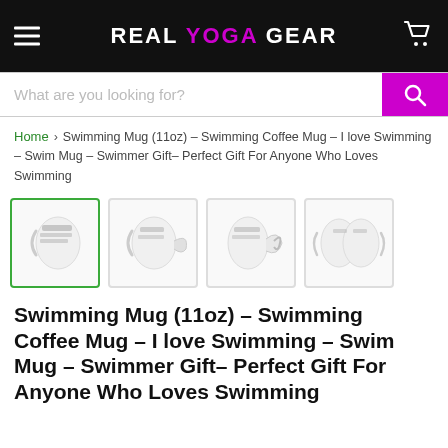REAL YOGA GEAR
What are you looking for?
Home › Swimming Mug (11oz) – Swimming Coffee Mug – I love Swimming – Swim Mug – Swimmer Gift– Perfect Gift For Anyone Who Loves Swimming
[Figure (photo): Four product thumbnail images of a white swimming-themed coffee mug shown from different angles]
Swimming Mug (11oz) – Swimming Coffee Mug – I love Swimming – Swim Mug – Swimmer Gift– Perfect Gift For Anyone Who Loves Swimming